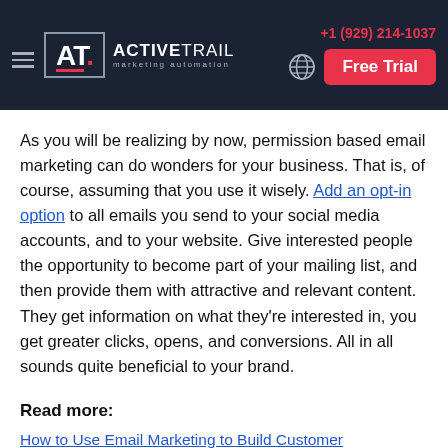[Figure (logo): ActiveTrail marketing automation logo with hamburger menu, phone number +1 (929) 214-1037, globe icon, and Free Trial button on dark navy background]
As you will be realizing by now, permission based email marketing can do wonders for your business. That is, of course, assuming that you use it wisely. Add an opt-in option to all emails you send to your social media accounts, and to your website. Give interested people the opportunity to become part of your mailing list, and then provide them with attractive and relevant content. They get information on what they're interested in, you get greater clicks, opens, and conversions. All in all sounds quite beneficial to your brand.
Read more:
How to Use Email Marketing to Build Customer Relationships
How to Start a Newsletter in 7 Easy Steps